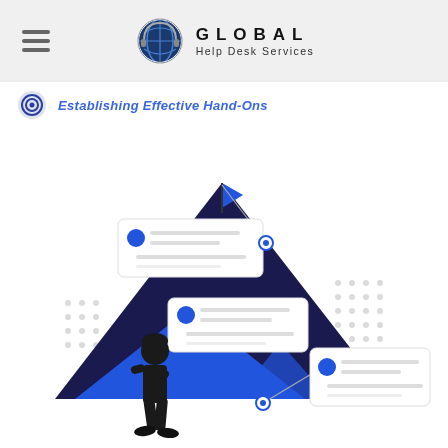GLOBAL Help Desk Services
Establishing Effective Hand-Ons
[Figure (illustration): An illustration of a person standing and looking at mountains with a flag at the peak. Several UI card elements with blue dots and lines are overlaid on the scene, representing task or process steps. Dot grid patterns appear in the background corners.]